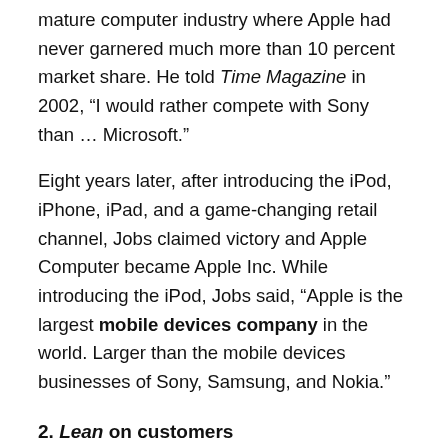mature computer industry where Apple had never garnered much more than 10 percent market share. He told Time Magazine in 2002, “I would rather compete with Sony than … Microsoft.”
Eight years later, after introducing the iPod, iPhone, iPad, and a game-changing retail channel, Jobs claimed victory and Apple Computer became Apple Inc. While introducing the iPod, Jobs said, “Apple is the largest mobile devices company in the world. Larger than the mobile devices businesses of Sony, Samsung, and Nokia.”
2. Lean on customers
Successful growth companies have a deep understanding of their customers’ problems. Many are embracing tools such as the customer empathy map to uncover new opportunities to create value. This customer insight is the